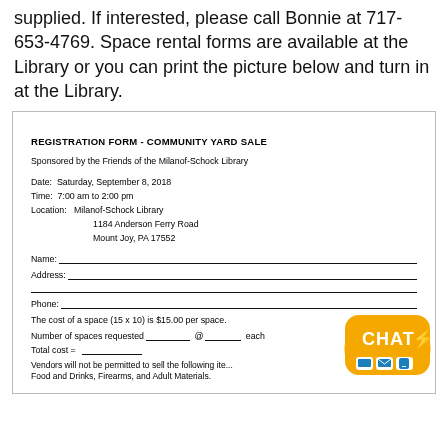supplied. If interested, please call Bonnie at 717-653-4769. Space rental forms are available at the Library or you can print the picture below and turn in at the Library.
[Figure (other): Registration Form - Community Yard Sale form with fields for Name, Address, Phone, number of spaces, total cost, and vendor restrictions. Sponsored by Friends of Milanof-Schock Library, Saturday September 8 2018, 7:00 am to 2:00 pm, at Milanof-Schock Library, 1184 Anderson Ferry Road, Mount Joy PA 17552.]
[Figure (other): Orange CHAT badge/button with lightning bolt and icons for monitor, email, and mobile]